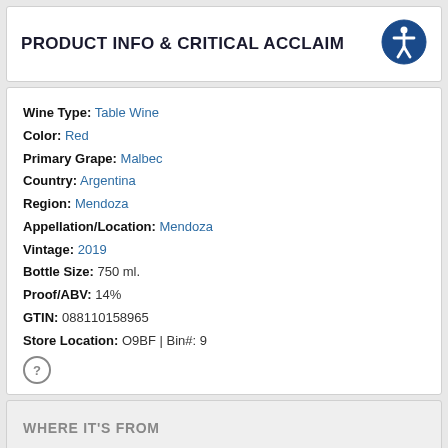PRODUCT INFO & CRITICAL ACCLAIM
Wine Type: Table Wine
Color: Red
Primary Grape: Malbec
Country: Argentina
Region: Mendoza
Appellation/Location: Mendoza
Vintage: 2019
Bottle Size: 750 ml.
Proof/ABV: 14%
GTIN: 088110158965
Store Location: O9BF | Bin#: 9
WHERE IT'S FROM
MORE INFORMATION